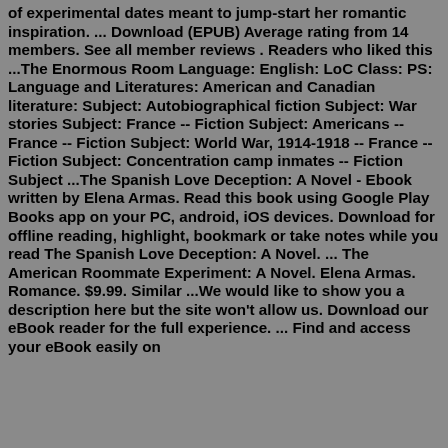of experimental dates meant to jump-start her romantic inspiration. ... Download (EPUB) Average rating from 14 members. See all member reviews . Readers who liked this ...The Enormous Room Language: English: LoC Class: PS: Language and Literatures: American and Canadian literature: Subject: Autobiographical fiction Subject: War stories Subject: France -- Fiction Subject: Americans -- France -- Fiction Subject: World War, 1914-1918 -- France -- Fiction Subject: Concentration camp inmates -- Fiction Subject ...The Spanish Love Deception: A Novel - Ebook written by Elena Armas. Read this book using Google Play Books app on your PC, android, iOS devices. Download for offline reading, highlight, bookmark or take notes while you read The Spanish Love Deception: A Novel. ... The American Roommate Experiment: A Novel. Elena Armas. Romance. $9.99. Similar ...We would like to show you a description here but the site won't allow us. Download our eBook reader for the full experience. ... Find and access your eBook easily on